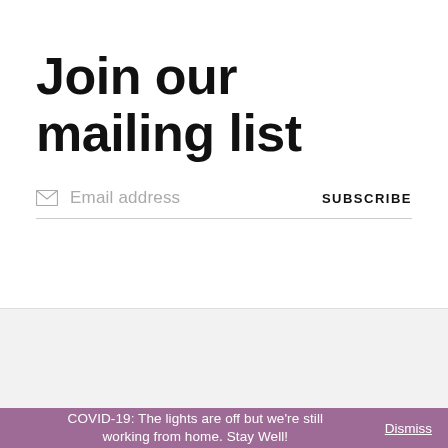Join our mailing list
Email address  SUBSCRIBE
COVID-19: The lights are off but we're still working from home. Stay Well!  Dismiss